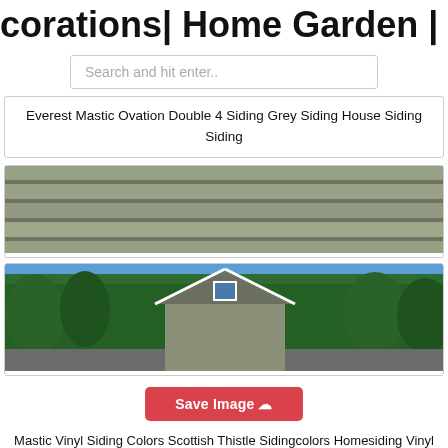corations| Home Garden | Home Far
Search and hit enter..
Everest Mastic Ovation Double 4 Siding Grey Siding House Siding Siding
[Figure (photo): Close-up photo of olive/sage green vinyl siding panels showing horizontal ribbed texture]
[Figure (photo): Photo of a house with grey-green vinyl siding, white trim gable, and a small dormer window, surrounded by green trees]
Save Image
Mastic Vinyl Siding Colors Scottish Thistle Sidingcolors Homesiding Vinyl Siding Colors Mastic Vinyl Siding Vinyl Siding